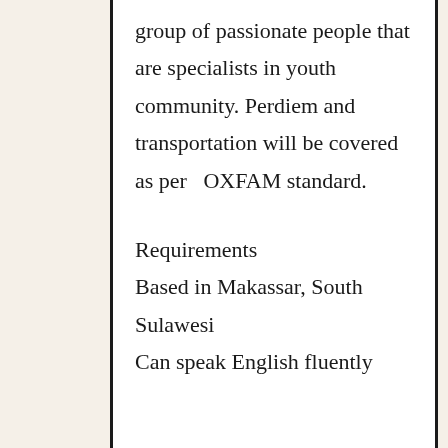group of passionate people that are specialists in youth community. Perdiem and transportation will be covered as per  OXFAM standard.
Requirements
Based in Makassar, South Sulawesi
Can speak English fluently